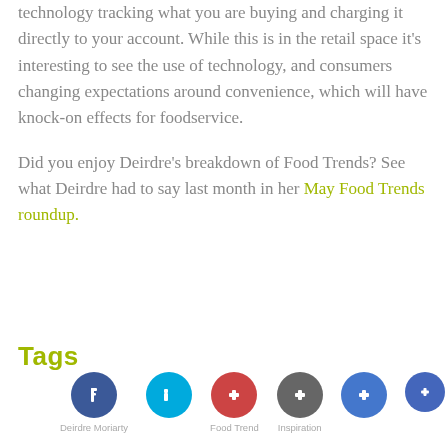technology tracking what you are buying and charging it directly to your account. While this is in the retail space it's interesting to see the use of technology, and consumers changing expectations around convenience, which will have knock-on effects for foodservice.
Did you enjoy Deirdre's breakdown of Food Trends? See what Deirdre had to say last month in her May Food Trends roundup.
Tags
[Figure (other): Social share / tag icons row: dark blue circle (Facebook), cyan circle (Twitter/share), red circle (Pinterest/share), gray circle (share), blue circle (share), partial blue circle. Labels: Deirdre Moriarty, Food Trend, Inspiration]